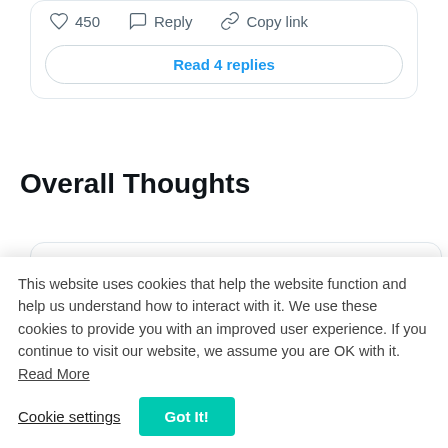[Figure (screenshot): Top portion of a tweet card showing like count (450), Reply and Copy link actions, and a 'Read 4 replies' button]
Overall Thoughts
[Figure (screenshot): Tweet card with avatar, fox and plant emojis, @JUNIORLAILAIzx username, Follow link, Twitter bird icon, and partial tweet text 'What we learned from']
This website uses cookies that help the website function and help us understand how to interact with it. We use these cookies to provide you with an improved user experience. If you continue to visit our website, we assume you are OK with it. Read More
Cookie settings
Got It!